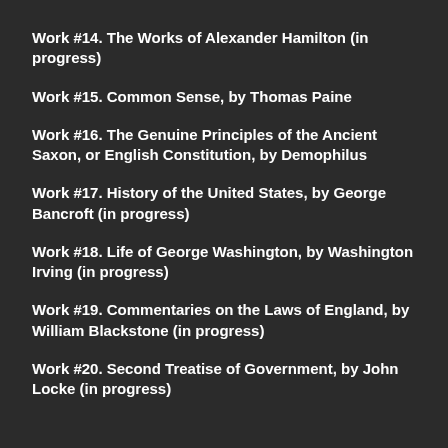Work #14.  The Works of Alexander Hamilton (in progress)
Work #15.   Common  Sense, by Thomas Paine
Work #16.  The Genuine Principles of the Ancient Saxon, or English Constitution, by Demophilus
Work #17. History of the United States, by George Bancroft (in progress)
Work #18. Life of George Washington, by Washington Irving (in progress)
Work #19. Commentaries on the Laws of England, by William Blackstone (in progress)
Work #20. Second Treatise of Government, by John Locke (in progress)